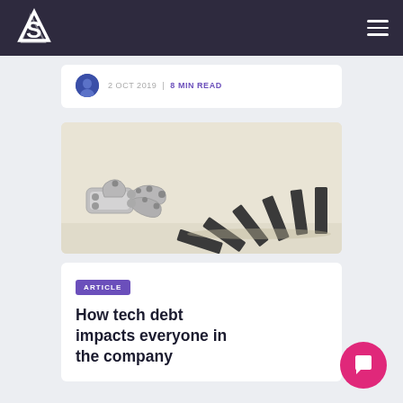Navigation bar with logo and hamburger menu
2 OCT 2019 | 8 MIN READ
[Figure (photo): A robotic hand pushing over a row of black domino tiles, set against a light beige background. The robot hand is metallic and mechanical, positioned from the left side of the image.]
ARTICLE
How tech debt impacts everyone in the company